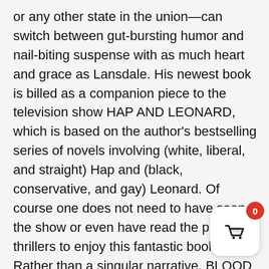or any other state in the union—can switch between gut-bursting humor and nail-biting suspense with as much heart and grace as Lansdale. His newest book is billed as a companion piece to the television show HAP AND LEONARD, which is based on the author's bestselling series of novels involving (white, liberal, and straight) Hap and (black, conservative, and gay) Leonard. Of course one does not need to have seen the show or even have read the previous thrillers to enjoy this fantastic book. Rather than a singular narrative, BLOOD AND LEMONADE is more a collection of short stories about Hap's youth and his first run-ins and adventures with Leonard. Though crime and criminals appear throughout, the stories are more about growing up—specifically growing up in the '50s and '60s
[Figure (other): Shopping basket UI button with red badge showing count 0]